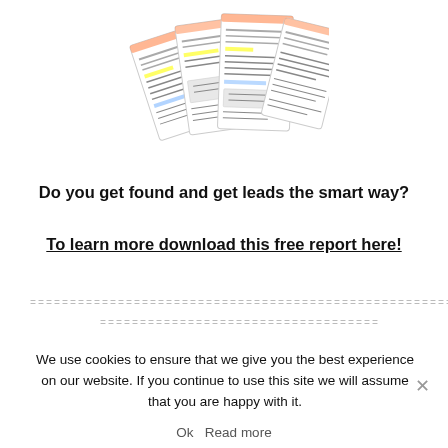[Figure (illustration): A fan of document pages spread out, showing text and highlighted content, rendered as an illustration of printed reports.]
Do you get found and get leads the smart way?
To learn more download this free report here!
=======================================================
===================================
We use cookies to ensure that we give you the best experience on our website. If you continue to use this site we will assume that you are happy with it.
Ok   Read more